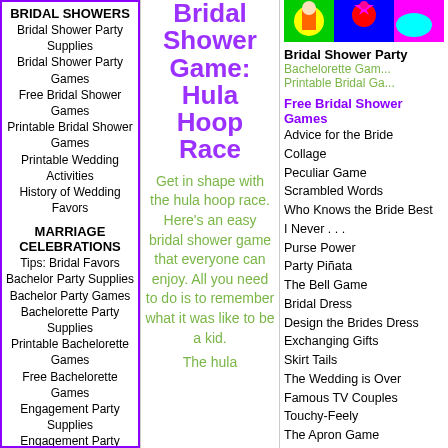BRIDAL SHOWERS
Bridal Shower Party Supplies
Bridal Shower Party Games
Free Bridal Shower Games
Printable Bridal Shower Games
Printable Wedding Activities
History of Wedding Favors
MARRIAGE CELEBRATIONS
Tips: Bridal Favors
Bachelor Party Supplies
Bachelor Party Games
Bachelorette Party Supplies
Printable Bachelorette Games
Free Bachelorette Games
Engagement Party Supplies
Engagement Party Games
Bridal Shower Game: Hula Hoop Race
Get in shape with the hula hoop race. Here's an easy bridal shower game that everyone can enjoy. All you need to do is to remember what it was like to be a kid.
The hula
[Figure (illustration): Colorful cartoon illustration of a bridal shower scene]
Bridal Shower Party
Bachelorette Gam...
Printable Bridal Ga...
Free Bridal Shower Games
Advice for the Bride
Collage
Peculiar Game
Scrambled Words
Who Knows the Bride Best
I Never . . .
Purse Power
Party Piñata
The Bell Game
Bridal Dress
Design the Brides Dress
Exchanging Gifts
Skirt Tails
The Wedding is Over
Famous TV Couples
Touchy-Feely
The Apron Game
Match Them
Musical Bouquet
Pass the Corsage
Balloon Pop
Creating the Veil
Make up the bride